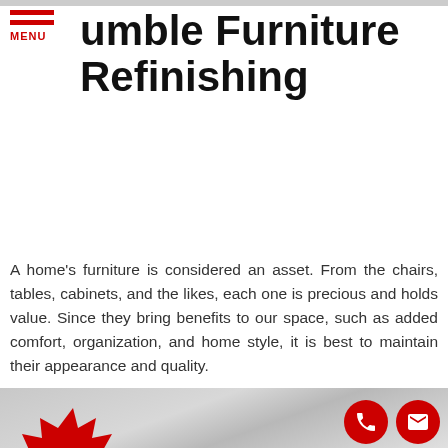MENU
umble Furniture Refinishing
A home's furniture is considered an asset. From the chairs, tables, cabinets, and the likes, each one is precious and holds value. Since they bring benefits to our space, such as added comfort, organization, and home style, it is best to maintain their appearance and quality.
[Figure (photo): Blurred interior photo showing furniture/home setting with a red starburst badge reading 'We Offer Financing' and two red circular contact buttons (phone and email) in the lower right corner.]